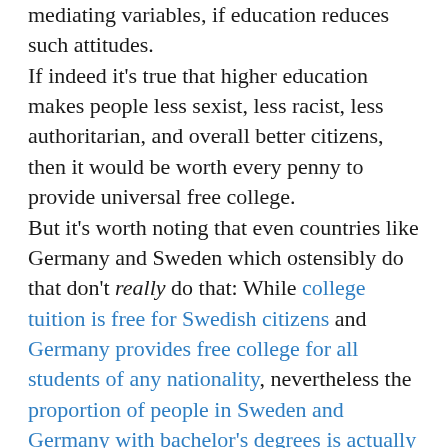mediating variables, if education reduces such attitudes. If indeed it's true that higher education makes people less sexist, less racist, less authoritarian, and overall better citizens, then it would be worth every penny to provide universal free college. But it's worth noting that even countries like Germany and Sweden which ostensibly do that don't really do that: While college tuition is free for Swedish citizens and Germany provides free college for all students of any nationality, nevertheless the proportion of people in Sweden and Germany with bachelor's degrees is actually lower than that of the United States. In Sweden the gap largely